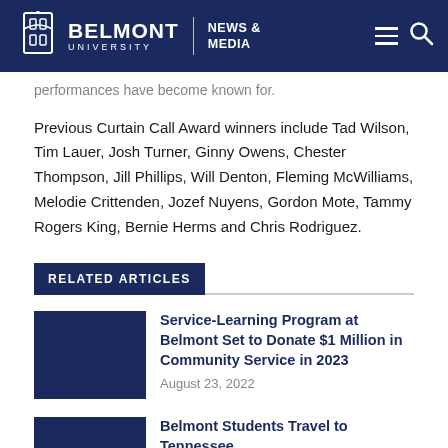BELMONT UNIVERSITY | NEWS & MEDIA
performances have become known for.
Previous Curtain Call Award winners include Tad Wilson, Tim Lauer, Josh Turner, Ginny Owens, Chester Thompson, Jill Phillips, Will Denton, Fleming McWilliams, Melodie Crittenden, Jozef Nuyens, Gordon Mote, Tammy Rogers King, Bernie Herms and Chris Rodriguez.
RELATED ARTICLES
Service-Learning Program at Belmont Set to Donate $1 Million in Community Service in 2023
August 23, 2022
Belmont Students Travel to Tennessee